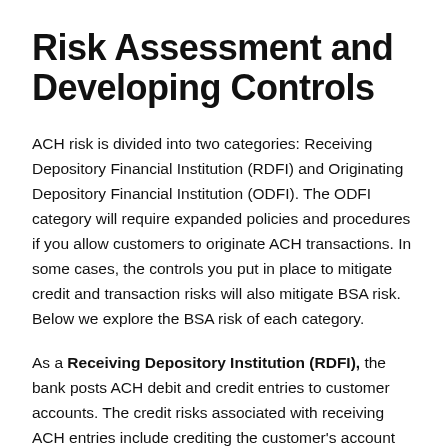Risk Assessment and Developing Controls
ACH risk is divided into two categories: Receiving Depository Financial Institution (RDFI) and Originating Depository Financial Institution (ODFI). The ODFI category will require expanded policies and procedures if you allow customers to originate ACH transactions. In some cases, the controls you put in place to mitigate credit and transaction risks will also mitigate BSA risk. Below we explore the BSA risk of each category.
As a Receiving Depository Institution (RDFI), the bank posts ACH debit and credit entries to customer accounts. The credit risks associated with receiving ACH entries include crediting the customer's account prior to settlement or allowing a debit to overdraw a customer's